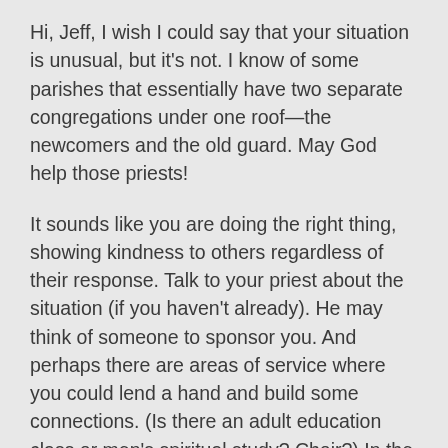Hi, Jeff, I wish I could say that your situation is unusual, but it's not. I know of some parishes that essentially have two separate congregations under one roof—the newcomers and the old guard. May God help those priests!
It sounds like you are doing the right thing, showing kindness to others regardless of their response. Talk to your priest about the situation (if you haven't already). He may think of someone to sponsor you. And perhaps there are areas of service where you could lend a hand and build some connections. (Is there an adult education class or men's spiritual study? Choir?) In the meantime, ask God to make a way and also ask our blessed Theotokos for her prayers. I'll be